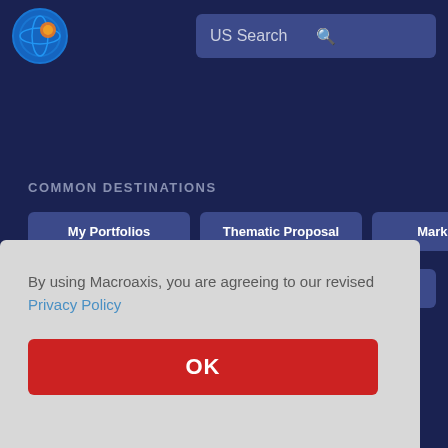[Figure (logo): Macroaxis logo: circular globe icon with orange and blue design]
US Search
COMMON DESTINATIONS
My Portfolios
Thematic Proposal
Market Map
Investment Tools
Equity Filter
ETFs
By using Macroaxis, you are agreeing to our revised Privacy Policy
OK